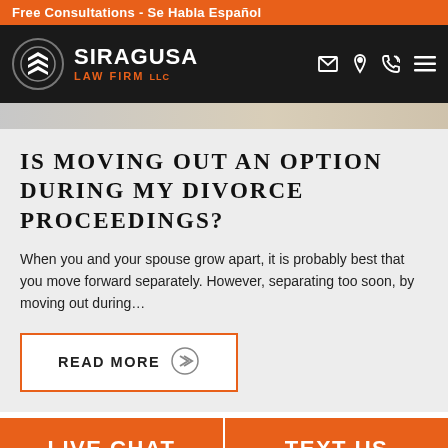Free Consultations - Se Habla Español
[Figure (logo): Siragusa Law Firm LLC logo with stylized chevron emblem in a circle, white text on dark background, navigation icons for email, location, phone, and menu]
IS MOVING OUT AN OPTION DURING MY DIVORCE PROCEEDINGS?
When you and your spouse grow apart, it is probably best that you move forward separately. However, separating too soon, by moving out during…
READ MORE
LIVE CHAT  TEXT US